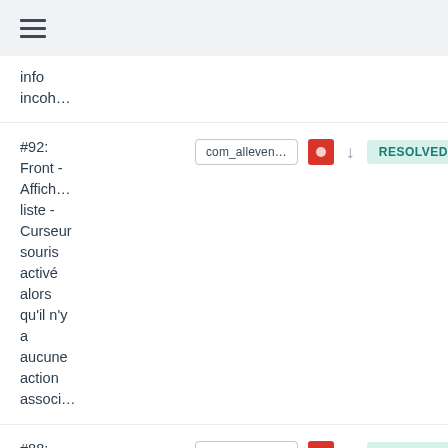☰
info incoh…
#92: Front - Affich… liste - Curseur souris activé alors qu'il n'y a aucune action associ…
#88: Option de pagin… ne comp…